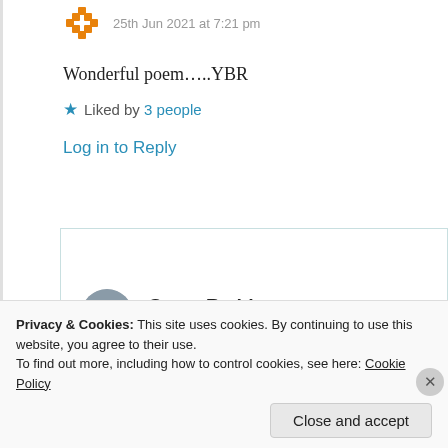25th Jun 2021 at 7:21 pm
Wonderful poem…..YBR
Liked by 3 people
Log in to Reply
Suma Reddy
25th Jun 2021 at 8:39 pm
Privacy & Cookies: This site uses cookies. By continuing to use this website, you agree to their use. To find out more, including how to control cookies, see here: Cookie Policy
Close and accept